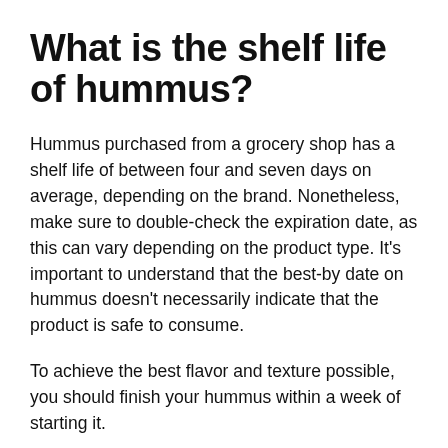What is the shelf life of hummus?
Hummus purchased from a grocery shop has a shelf life of between four and seven days on average, depending on the brand. Nonetheless, make sure to double-check the expiration date, as this can vary depending on the product type. It’s important to understand that the best-by date on hummus doesn’t necessarily indicate that the product is safe to consume.
To achieve the best flavor and texture possible, you should finish your hummus within a week of starting it.